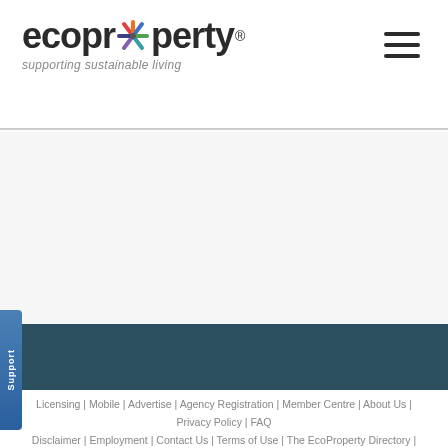[Figure (logo): ecoproperty logo with colorful starfish/asterisk replacing the 'o', tagline 'supporting sustainable living']
Licensing | Mobile | Advertise | Agency Registration | Member Centre | About Us | Privacy Policy | FAQ Disclaimer | Employment | Contact Us | Terms of Use | The EcoProperty Directory | Help
©ecoproperty® 1997-2022 VPS